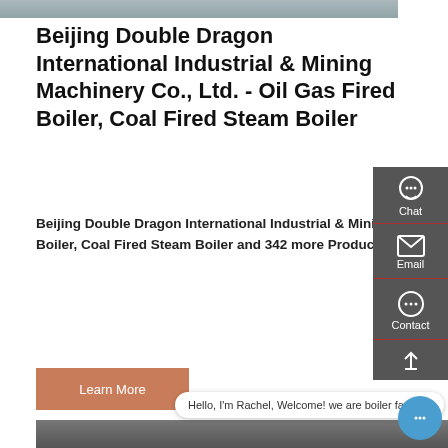[Figure (photo): Top partial image, cropped industrial/factory scene]
Beijing Double Dragon International Industrial & Mining Machinery Co., Ltd. - Oil Gas Fired Boiler, Coal Fired Steam Boiler
Beijing Double Dragon International Industrial & Mining Machinery Co., Ltd., Experts in Manufacturing and Exporting Oil Gas Fired Boiler, Coal Fired Steam Boiler and 342 more Products. We are an engineering group, which is professionally engaged in design
Learn More
[Figure (photo): Bottom industrial factory interior image with boiler equipment]
Hello, I'm Rachel, Welcome! we are boiler factory!